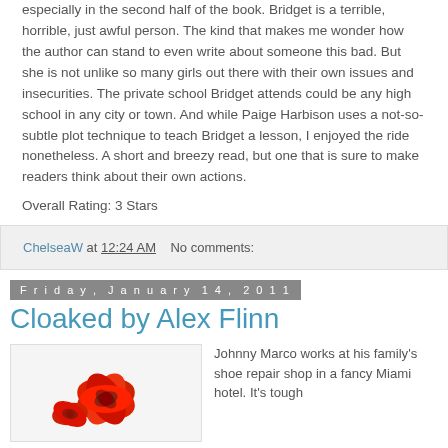especially in the second half of the book. Bridget is a terrible, horrible, just awful person. The kind that makes me wonder how the author can stand to even write about someone this bad. But she is not unlike so many girls out there with their own issues and insecurities. The private school Bridget attends could be any high school in any city or town. And while Paige Harbison uses a not-so-subtle plot technique to teach Bridget a lesson, I enjoyed the ride nonetheless. A short and breezy read, but one that is sure to make readers think about their own actions.
Overall Rating: 3 Stars
ChelseaW at 12:24 AM    No comments:
Friday, January 14, 2011
Cloaked by Alex Flinn
[Figure (illustration): Book cover image showing red and black illustrated flowers or roses]
Johnny Marco works at his family's shoe repair shop in a fancy Miami hotel. It's tough